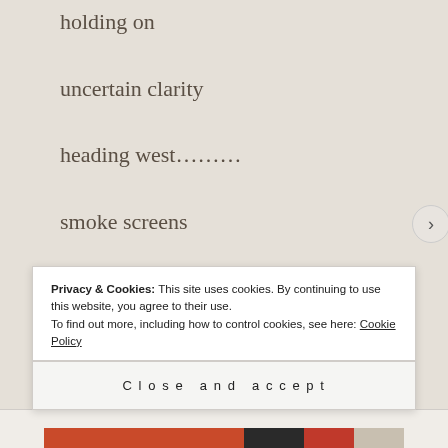holding on
uncertain clarity
heading west………
smoke screens
A moment once….
random thoughts…
Privacy & Cookies: This site uses cookies. By continuing to use this website, you agree to their use. To find out more, including how to control cookies, see here: Cookie Policy
Close and accept